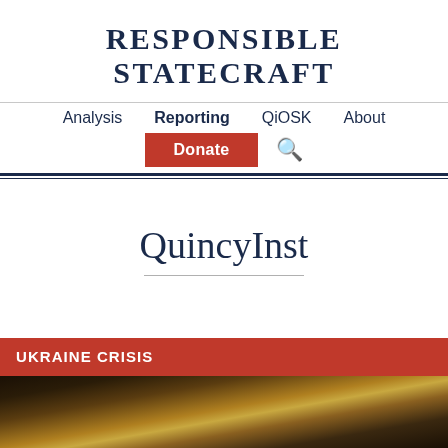RESPONSIBLE STATECRAFT
Analysis  Reporting  QiOSK  About  Donate
QuincyInst
UKRAINE CRISIS
[Figure (photo): Partial photo of what appears to be a dark and golden striped surface, likely railroad tracks or similar metallic structure]